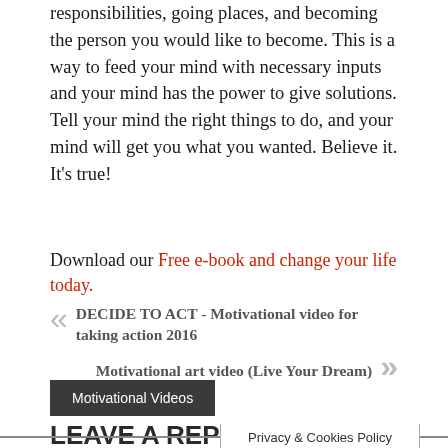responsibilities, going places, and becoming the person you would like to become. This is a way to feed your mind with necessary inputs and your mind has the power to give solutions. Tell your mind the right things to do, and your mind will get you what you wanted. Believe it. It's true!
Download our Free e-book and change your life today.
« DECIDE TO ACT - Motivational video for taking action 2016
Motivational art video (Live Your Dream) »
Motivational Videos
LEAVE A REPLY
Privacy & Cookies Policy